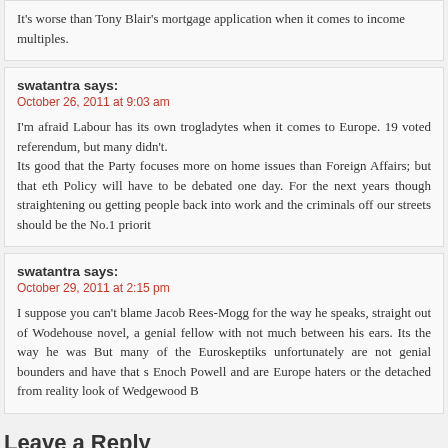It's worse than Tony Blair's mortgage application when it comes to income multiples.
swatantra says:
October 26, 2011 at 9:03 am
I'm afraid Labour has its own trogladytes when it comes to Europe. 19 voted referendum, but many didn't.
Its good that the Party focuses more on home issues than Foreign Affairs; but that eth Policy will have to be debated one day. For the next years though straightening ou getting people back into work and the criminals off our streets should be the No.1 priorit
swatantra says:
October 29, 2011 at 2:15 pm
I suppose you can't blame Jacob Rees-Mogg for the way he speaks, straight out of Wodehouse novel, a genial fellow with not much between his ears. Its the way he was But many of the Euroskeptiks unfortunately are not genial bounders and have that s Enoch Powell and are Europe haters or the detached from reality look of Wedgewood B
Leave a Reply
Name (required)